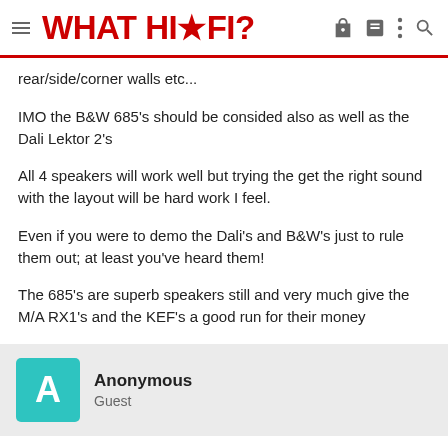WHAT HI·FI?
rear/side/corner walls etc...
IMO the B&W 685's should be consided also as well as the Dali Lektor 2's
All 4 speakers will work well but trying the get the right sound with the layout will be hard work I feel.
Even if you were to demo the Dali's and B&W's just to rule them out; at least you've heard them!
The 685's are superb speakers still and very much give the M/A RX1's and the KEF's a good run for their money
Anonymous
Guest